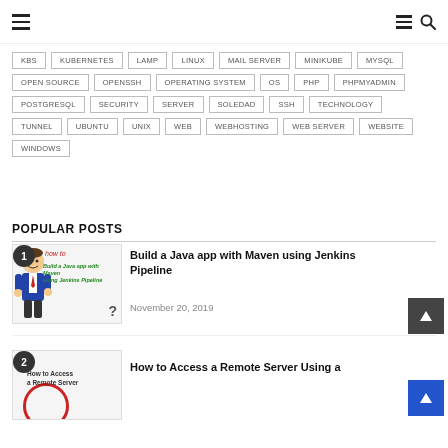Navigation bar with hamburger menu and search icon
KBS
KUBERNETES
LAMP
LINUX
MAIL SERVER
MINIKUBE
MYSQL
OPEN SOURCE
OPENSSH
OPERATING SYSTEM
OS
PHP
PHPMYADMIN
POSTGRESQL
SECURITY
SERVER
SOLEDAD
SSH
TECHNOLOGY
TUNNEL
UBUNTU
UNIX
WEB
WEBHOSTING
WEB SERVER
WEBSITE
WINDOWS
POPULAR POSTS
[Figure (illustration): Thumbnail with cartoon person, 'how to' and 'Build a Java app with Maven using Jenkins Pipeline' text]
Build a Java app with Maven using Jenkins Pipeline
November 20, 2019
[Figure (illustration): Thumbnail with 'How to Access a Remote Server' text]
How to Access a Remote Server Using a